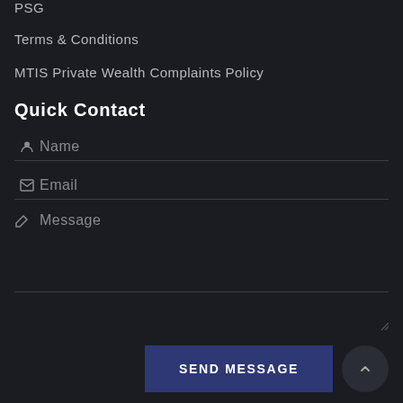PSG
Terms & Conditions
MTIS Private Wealth Complaints Policy
Quick Contact
Name
Email
Message
SEND MESSAGE